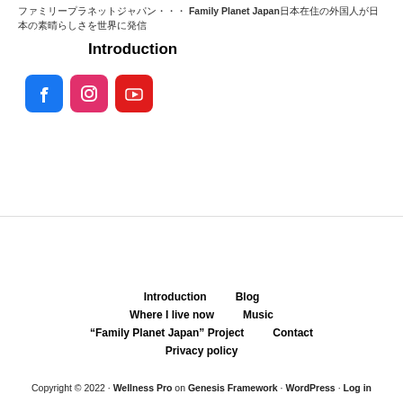ファミリープラネットジャパン Family Planet Japan日本在住の外国人が日本の素晴らしさを世界に発信
Introduction
[Figure (illustration): Three social media icons: Facebook (blue), Instagram (pink/red), YouTube (red)]
Introduction
Blog
Where I live now
Music
“Family Planet Japan” Project
Contact
Privacy policy
Copyright © 2022 · Wellness Pro on Genesis Framework · WordPress · Log in